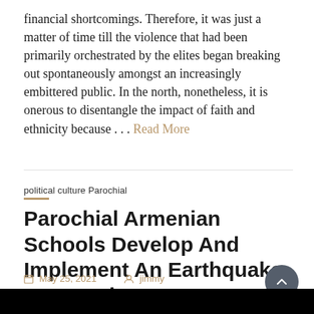financial shortcomings. Therefore, it was just a matter of time till the violence that had been primarily orchestrated by the elites began breaking out spontaneously amongst an increasingly embittered public. In the north, nonetheless, it is onerous to disentangle the impact of faith and ethnicity because . . . Read More
political culture Parochial
Parochial Armenian Schools Develop And Implement An Earthquake Preparedness Program
May 25, 2021   jimmy
armenian, develop, earthquake, implement, parochial, preparedness, program, schools